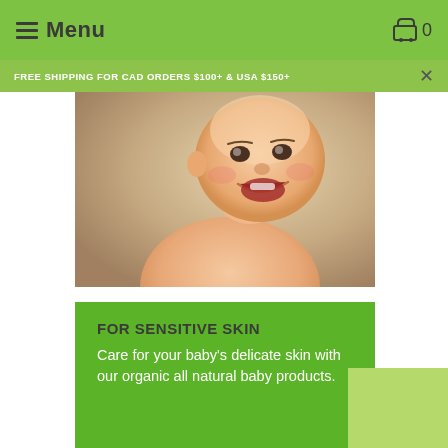Menu
FREE SHIPPING FOR CAD ORDERS $100+ & USA $150+
[Figure (photo): Smiling baby with mouth open, looking upward, bare skin, warm neutral background]
FOR SENSITIVE SKIN
Care for your baby's delicate skin with our organic all natural baby products.